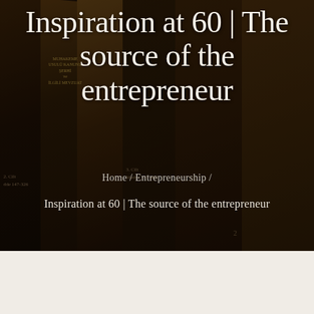[Figure (photo): Dark background photo of stacked law books/legal volumes with gold text on spines, including Turkish legal texts such as 'Muhakeme Usulü Kanunu Şerhi ve İlgili Mevzuat', '2. Cilt Madde 147-326', '3. Cilt Madde 327-466']
Inspiration at 60 | The source of the entrepreneur
Home / Entrepreneurship /
Inspiration at 60 | The source of the entrepreneur
[Figure (photo): Tan/gold gradient banner image with sparkle star decorations and partial text 'INSPIRE...' in dark bold letters]